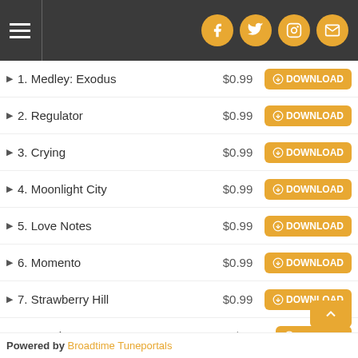Navigation and social icons header
1. Medley: Exodus  $0.99  DOWNLOAD
2. Regulator  $0.99  DOWNLOAD
3. Crying  $0.99  DOWNLOAD
4. Moonlight City  $0.99  DOWNLOAD
5. Love Notes  $0.99  DOWNLOAD
6. Momento  $0.99  DOWNLOAD
7. Strawberry Hill  $0.99  DOWNLOAD
8. Sneaky Steppers  $0.99  DOWNLOAD
Powered by Broadtime Tuneportals